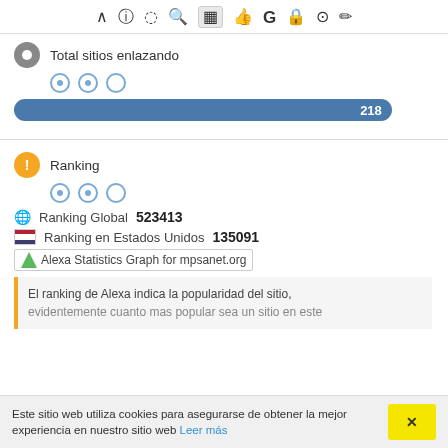[Figure (screenshot): Browser toolbar with icons: caret, info, refresh, search, chart (active/highlighted), thumbs-up, G, lock, question, pencil]
Total sitios enlazando
[Figure (bar-chart): Total sitios enlazando]
Ranking
Ranking Global   523413
Ranking en Estados Unidos   135091
[Figure (screenshot): Alexa Statistics Graph for mpsanet.org image placeholder]
El ranking de Alexa indica la popularidad del sitio, evidentemente cuanto mas popular sea un sitio en este
Este sitio web utiliza cookies para asegurarse de obtener la mejor experiencia en nuestro sitio web Leer más